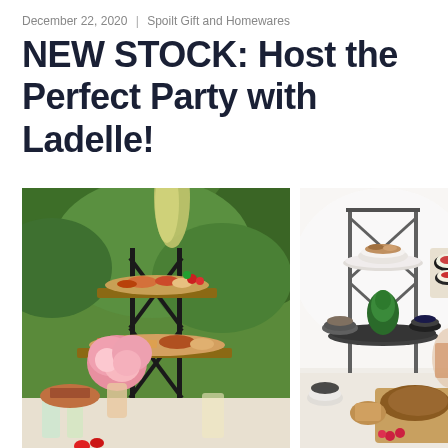December 22, 2020 | Spoilt Gift and Homewares
NEW STOCK: Host the Perfect Party with Ladelle!
[Figure (photo): Two side-by-side food styling photos featuring tiered serving stands (Ladelle brand). Left: outdoor garden setting with a tiered stand holding charcuterie/antipasto, surrounded by pink peonies and greenery, with drinks on a table. Right: indoor white background with a tiered stand displaying Christmas-themed party food, small bowls, breads and cheeseboards.]